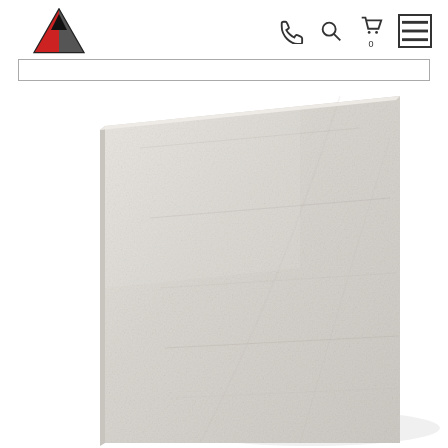TILE|MERCHANT — navigation header with logo, phone, search, cart, and menu icons
[Figure (photo): A light beige/cream porcelain or stone tile shown at an angle, displaying a smooth matte surface with subtle texture. The tile has a slightly off-white color with faint natural veining patterns.]